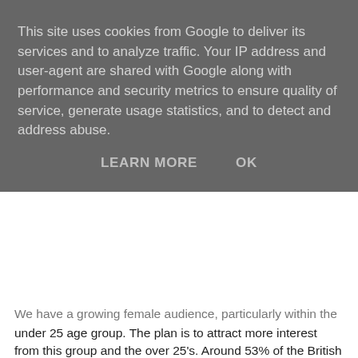This site uses cookies from Google to deliver its services and to analyze traffic. Your IP address and user-agent are shared with Google along with performance and security metrics to ensure quality of service, generate usage statistics, and to detect and address abuse.
LEARN MORE   OK
We have a growing female audience, particularly within the under 25 age group. The plan is to attract more interest from this group and the over 25's. Around 53% of the British population owns a smartphone, and our calculation show that there are about 9.8million adults with iPhones alone. We estimate the female audience account for a little over 5million of iPhone users in the UK. Worldwide this figure is considerably higher and the trend is predicted to increase both in the UK and the rest of the world over the coming years.
Advertising
We have had a positive response to our collaborations with bloggers, without them we probably would have been out of business by now. We plan to continue those collaborations...